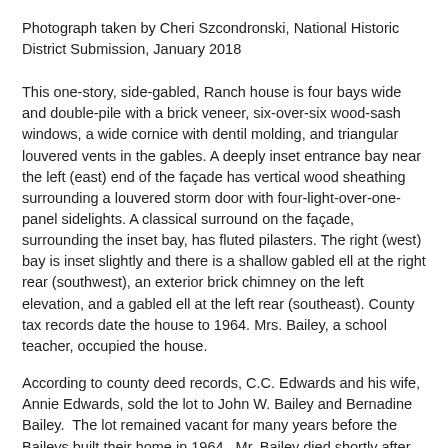Photograph taken by Cheri Szcondronski, National Historic District Submission, January 2018
This one-story, side-gabled, Ranch house is four bays wide and double-pile with a brick veneer, six-over-six wood-sash windows, a wide cornice with dentil molding, and triangular louvered vents in the gables. A deeply inset entrance bay near the left (east) end of the façade has vertical wood sheathing surrounding a louvered storm door with four-light-over-one-panel sidelights. A classical surround on the façade, surrounding the inset bay, has fluted pilasters. The right (west) bay is inset slightly and there is a shallow gabled ell at the right rear (southwest), an exterior brick chimney on the left elevation, and a gabled ell at the left rear (southeast). County tax records date the house to 1964. Mrs. Bailey, a school teacher, occupied the house.
According to county deed records, C.C. Edwards and his wife, Annie Edwards, sold the lot to John W. Bailey and Bernadine Bailey.  The lot remained vacant for many years before the Baileys built their home in 1964.  Mr. Bailey died shortly after the home's completion and Mrs. Bailey lived in it for many